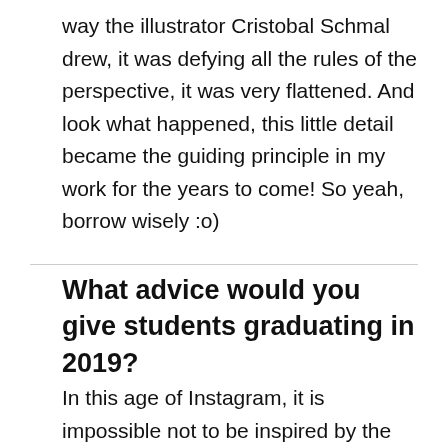way the illustrator Cristobal Schmal drew, it was defying all the rules of the perspective, it was very flattened. And look what happened, this little detail became the guiding principle in my work for the years to come! So yeah, borrow wisely :o)
What advice would you give students graduating in 2019?
In this age of Instagram, it is impossible not to be inspired by the constantly updated work of thousands of talents out